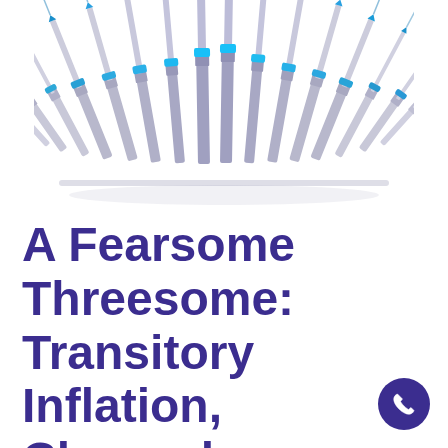[Figure (illustration): A collection of medical syringes with blue caps arranged in an arc/crown shape, forming a mountain-like silhouette against a white background.]
A Fearsome Threesome: Transitory Inflation, Clogged Supply Chain, and Syringe Shortages